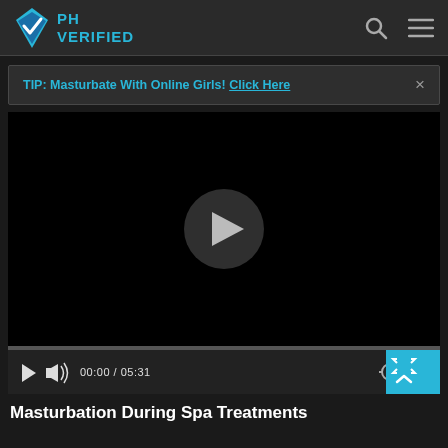[Figure (logo): PH Verified logo with teal diamond shape and checkmark, text reads PH VERIFIED in teal]
TIP: Masturbate With Online Girls! Click Here
[Figure (screenshot): Video player showing black screen with circular play button overlay, progress bar at 00:00 / 05:31, controls including play, volume, time, settings, and fullscreen icons. Blue scroll/expand button in bottom right corner.]
Masturbation During Spa Treatments